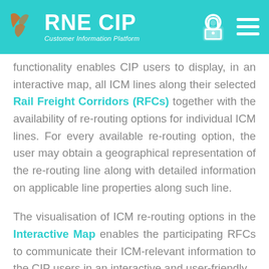RNE CIP — Customer Information Platform
functionality enables CIP users to display, in an interactive map, all ICM lines along their selected Rail Freight Corridors (RFCs) together with the availability of re-routing options for individual ICM lines. For every available re-routing option, the user may obtain a geographical representation of the re-routing line along with detailed information on applicable line properties along such line.
The visualisation of ICM re-routing options in the Interactive Map enables the participating RFCs to communicate their ICM-relevant information to the CIP users in an interactive and user-friendly